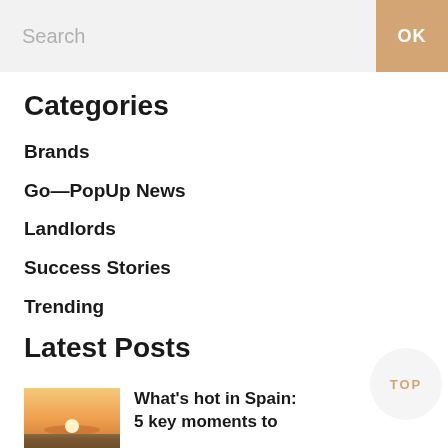[Figure (screenshot): Search bar with placeholder text 'Search' and an orange 'OK' button]
Categories
Brands
Go—PopUp News
Landlords
Success Stories
Trending
Latest Posts
[Figure (photo): Thumbnail photo showing a sunset or sunrise over a landscape, warm orange tones]
What's hot in Spain: 5 key moments to